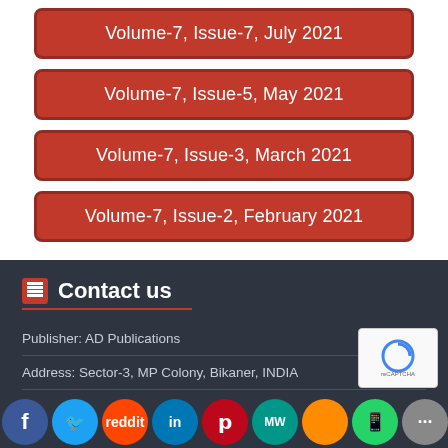Volume-7, Issue-7, July 2021
Volume-7, Issue-5, May 2021
Volume-7, Issue-3, March 2021
Volume-7, Issue-2, February 2021
Contact us
Publisher: AD Publications
Address: Sector-3, MP Colony, Bikaner, INDIA
Frequency: 12 issue per year
Website: https://adpublications.org/